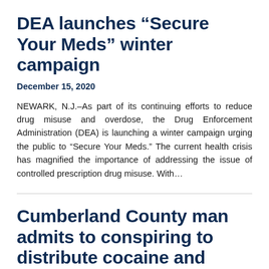DEA launches “Secure Your Meds” winter campaign
December 15, 2020
NEWARK, N.J.–As part of its continuing efforts to reduce drug misuse and overdose, the Drug Enforcement Administration (DEA) is launching a winter campaign urging the public to “Secure Your Meds.” The current health crisis has magnified the importance of addressing the issue of controlled prescription drug misuse. With…
Cumberland County man admits to conspiring to distribute cocaine and other charges